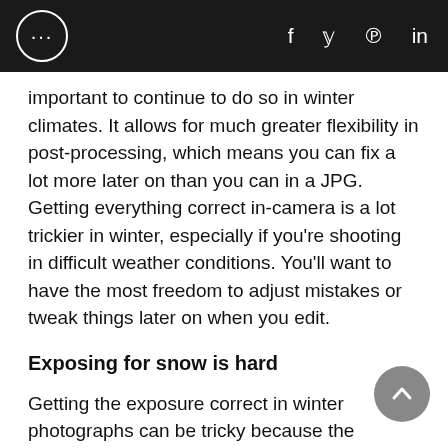... f y p in
important to continue to do so in winter climates. It allows for much greater flexibility in post-processing, which means you can fix a lot more later on than you can in a JPG.
Getting everything correct in-camera is a lot trickier in winter, especially if you're shooting in difficult weather conditions. You'll want to have the most freedom to adjust mistakes or tweak things later on when you edit.
Exposing for snow is hard
Getting the exposure correct in winter photographs can be tricky because the camera sees the white as being too bright. While it seems counterintuitive, you often need to overexpose for snow or the image will be too dark. Overexposing compensates for the metering in camera, which is set for middle grey.